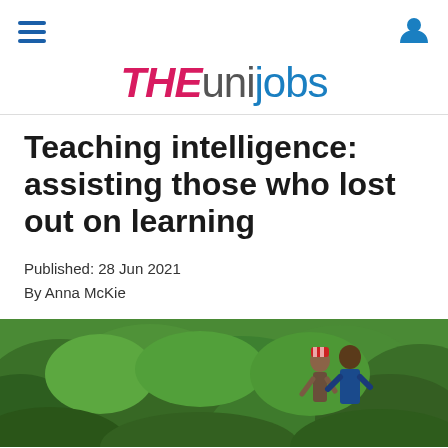[navigation menu icon] [user account icon]
THEunijobs
Teaching intelligence: assisting those who lost out on learning
Published: 28 Jun 2021
By Anna McKie
[Figure (photo): Two people standing in a lush green field or garden with dense foliage, one wearing a red and white patterned headpiece]